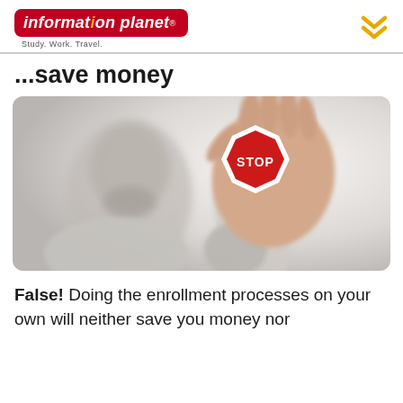information planet® — Study. Work. Travel.
...save money
[Figure (photo): Man with blurred face holding up his palm toward the camera, with a red STOP sign depicted on his palm. He is wearing a grey long-sleeve shirt against a light background.]
False! Doing the enrollment processes on your own will neither save you money nor